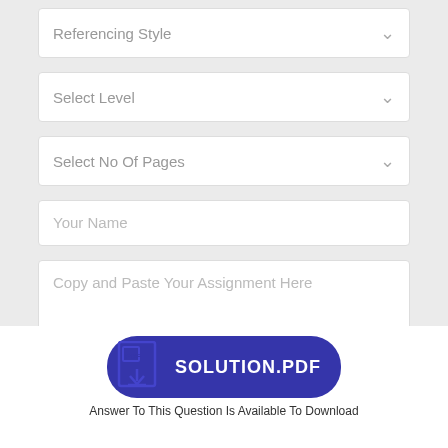[Figure (screenshot): Form with dropdowns for Referencing Style, Select Level, Select No Of Pages, Your Name input, Copy and Paste Your Assignment Here textarea, Have files? label, and GET ANSWER button]
Have files?
[Figure (other): GET ANSWER button in purple/indigo color]
[Figure (other): SOLUTION.PDF button with PDF download icon]
Answer To This Question Is Available To Download